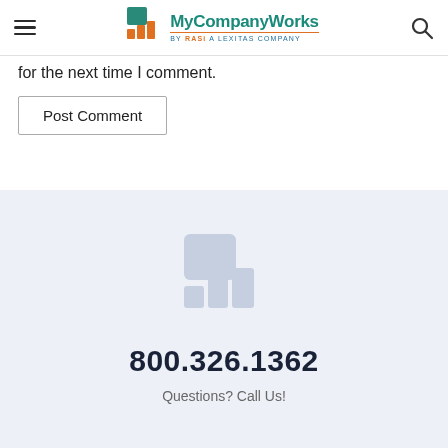MyCompanyWorks BY RASi A LEXITAS COMPANY
for the next time I comment.
Post Comment
[Figure (logo): MyCompanyWorks logo watermark (faded blue-grey) showing chart icon with bar graphs]
800.326.1362
Questions? Call Us!